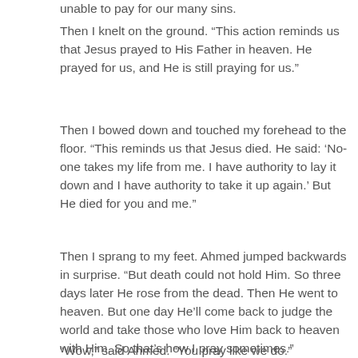unable to pay for our many sins.
Then I knelt on the ground. “This action reminds us that Jesus prayed to His Father in heaven. He prayed for us, and He is still praying for us.”
Then I bowed down and touched my forehead to the floor. “This reminds us that Jesus died. He said: ‘No-one takes my life from me. I have authority to lay it down and I have authority to take it up again.’ But He died for you and me.”
Then I sprang to my feet. Ahmed jumped backwards in surprise. “But death could not hold Him. So three days later He rose from the dead. Then He went to heaven. But one day He’ll come back to judge the world and take those who love Him back to heaven with Him. So that’s how I pray sometimes.”
“Wow,” said Ahmed. “You pray like we do.”